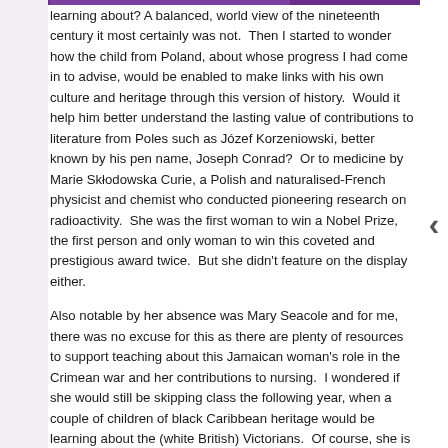learning about? A balanced, world view of the nineteenth century it most certainly was not.  Then I started to wonder how the child from Poland, about whose progress I had come in to advise, would be enabled to make links with his own culture and heritage through this version of history.  Would it help him better understand the lasting value of contributions to literature from Poles such as Józef Korzeniowski, better known by his pen name, Joseph Conrad?  Or to medicine by Marie Skłodowska Curie, a Polish and naturalised-French physicist and chemist who conducted pioneering research on radioactivity.  She was the first woman to win a Nobel Prize, the first person and only woman to win this coveted and prestigious award twice.  But she didn't feature on the display either.
Also notable by her absence was Mary Seacole and for me, there was no excuse for this as there are plenty of resources to support teaching about this Jamaican woman's role in the Crimean war and her contributions to nursing.  I wondered if she would still be skipping class the following year, when a couple of children of black Caribbean heritage would be learning about the (white British) Victorians.  Of course, she is not the only black person who made a contribution to